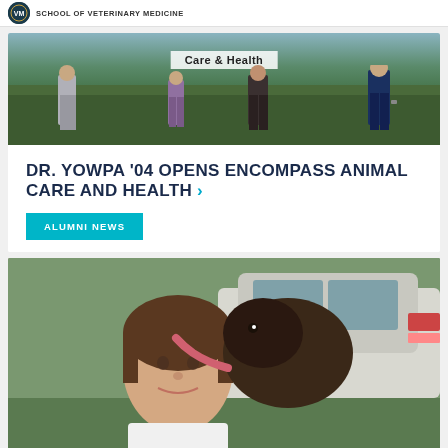SCHOOL OF VETERINARY MEDICINE
[Figure (photo): Photo of people standing in front of a sign reading 'Care & Health']
DR. YOWPA '04 OPENS ENCOMPASS ANIMAL CARE AND HEALTH
ALUMNI NEWS
[Figure (photo): A woman taking a selfie with a dog licking her face, with a white car in the background]